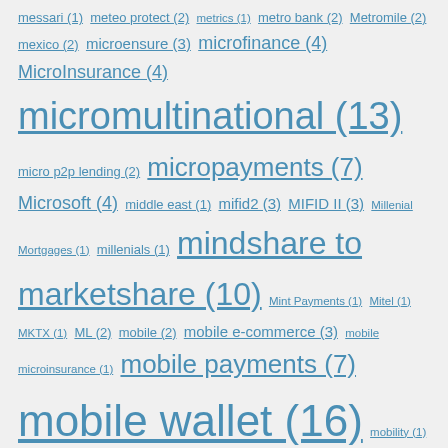messari (1) meteo protect (2) metrics (1) metro bank (2) Metromile (2) mexico (2) microensure (3) microfinance (4) MicroInsurance (4) micromultinational (13) micro p2p lending (2) micropayments (7) Microsoft (4) middle east (1) mifid2 (3) MIFID II (3) Millenial Mortgages (1) millenials (1) mindshare to marketshare (10) Mint Payments (1) Mitel (1) MKTX (1) ML (2) mobile (2) mobile e-commerce (3) mobile microinsurance (1) mobile payments (7) mobile wallet (16) mobility (1) model portfolios (1) Monese (1) money (3) moneyonmobile (9) moni (2) monzo (7) Moo.la (2) mortgages (8) MortgageTech (2) motif (5) motor (1) mpesa (11) MPT (1) MSCI (2) MSCIBarra (2) multisig (2) munichre (6) muppets revenge (4) Muscat (1) MyProsperity (1) n26 (2) NAIC (2) NASDAQ (5) Ndau (1) negative interest rates (3) neo (2) neobanks (11) neos (2) neufund (1) New Payments Platform (1) news (1) new zealand (2) next Money (1) NexusMutual (1) NFRD (1) NFT (3) nigeria (5) Node operators (2) Norbloc (1) nordics (5) north africa (1) NPS (3) NPV (3) nubank (4) Nudge